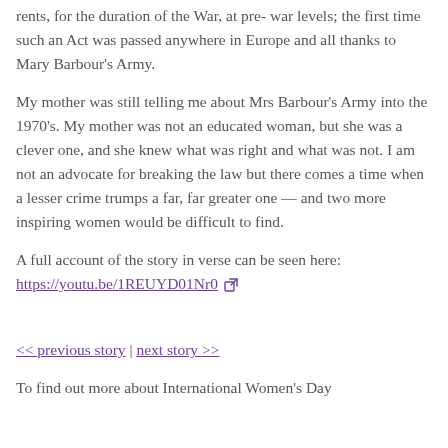Parliament passed into law legislation freezing rents, for the duration of the War, at pre-war levels; the first time such an Act was passed anywhere in Europe and all thanks to Mary Barbour's Army.
My mother was still telling me about Mrs Barbour's Army into the 1970's. My mother was not an educated woman, but she was a clever one, and she knew what was right and what was not. I am not an advocate for breaking the law but there comes a time when a lesser crime trumps a far, far greater one — and two more inspiring women would be difficult to find.
A full account of the story in verse can be seen here: https://youtu.be/1REUYD01Nr0
<< previous story | next story >>
To find out more about International Women's Day